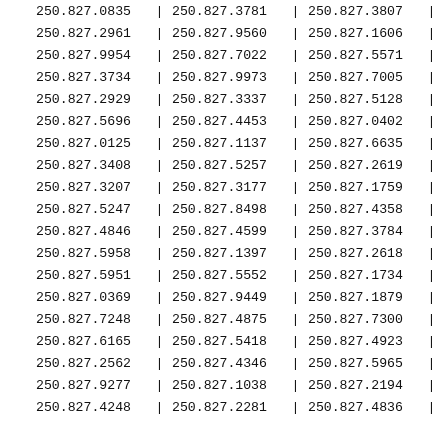| 250.827.0835 | | | 250.827.3781 | | | 250.827.3807 | | |
| 250.827.2961 | | | 250.827.9560 | | | 250.827.1606 | | |
| 250.827.9954 | | | 250.827.7022 | | | 250.827.5571 | | |
| 250.827.3734 | | | 250.827.9973 | | | 250.827.7005 | | |
| 250.827.2929 | | | 250.827.3337 | | | 250.827.5128 | | |
| 250.827.5696 | | | 250.827.4453 | | | 250.827.0402 | | |
| 250.827.0125 | | | 250.827.1137 | | | 250.827.6635 | | |
| 250.827.3408 | | | 250.827.5257 | | | 250.827.2619 | | |
| 250.827.3207 | | | 250.827.3177 | | | 250.827.1759 | | |
| 250.827.5247 | | | 250.827.8498 | | | 250.827.4358 | | |
| 250.827.4846 | | | 250.827.4599 | | | 250.827.3784 | | |
| 250.827.5958 | | | 250.827.1397 | | | 250.827.2618 | | |
| 250.827.5951 | | | 250.827.5552 | | | 250.827.1734 | | |
| 250.827.0369 | | | 250.827.9449 | | | 250.827.1879 | | |
| 250.827.7248 | | | 250.827.4875 | | | 250.827.7300 | | |
| 250.827.6165 | | | 250.827.5418 | | | 250.827.4923 | | |
| 250.827.2562 | | | 250.827.4346 | | | 250.827.5965 | | |
| 250.827.9277 | | | 250.827.1038 | | | 250.827.2194 | | |
| 250.827.4248 | | | 250.827.2281 | | | 250.827.4836 | | |